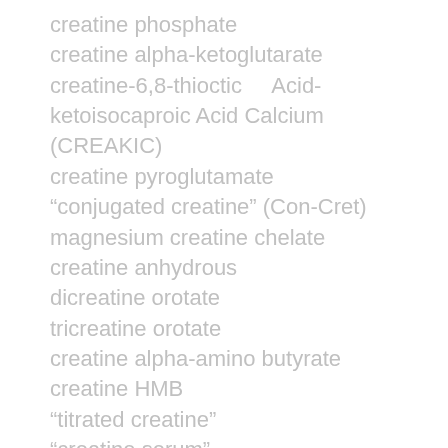creatine phosphate
creatine alpha-ketoglutarate
creatine-6,8-thioctic    Acid-ketoisocaproic Acid Calcium (CREAKIC)
creatine pyroglutamate
“conjugated creatine” (Con-Cret)
magnesium creatine chelate
creatine anhydrous
dicreatine orotate
tricreatine orotate
creatine alpha-amino butyrate
creatine HMB
“titrated creatine”
“creatine serum”